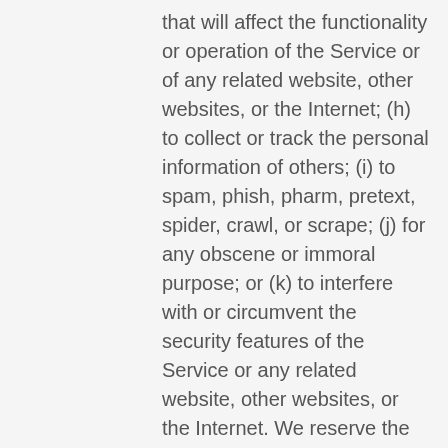that will affect the functionality or operation of the Service or of any related website, other websites, or the Internet; (h) to collect or track the personal information of others; (i) to spam, phish, pharm, pretext, spider, crawl, or scrape; (j) for any obscene or immoral purpose; or (k) to interfere with or circumvent the security features of the Service or any related website, other websites, or the Internet. We reserve the right to terminate your use of the Service or any related website for violating any of the prohibited uses.
SECTION 13 – DISCLAIMER OF WARRANTIES; LIMITATION OF LIABILITY
We do not guarantee, represent or warrant